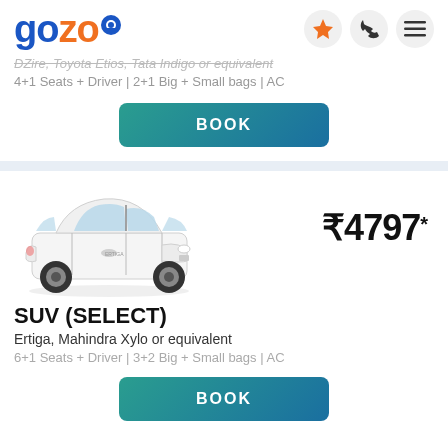[Figure (logo): Gozo logo with blue and orange text and map pin icon]
DZire, Toyota Etios, Tata Indigo or equivalent
4+1 Seats + Driver | 2+1 Big + Small bags | AC
BOOK
[Figure (photo): White Maruti Ertiga SUV side-front view]
₹4797*
SUV (SELECT)
Ertiga, Mahindra Xylo or equivalent
6+1 Seats + Driver | 3+2 Big + Small bags | AC
BOOK